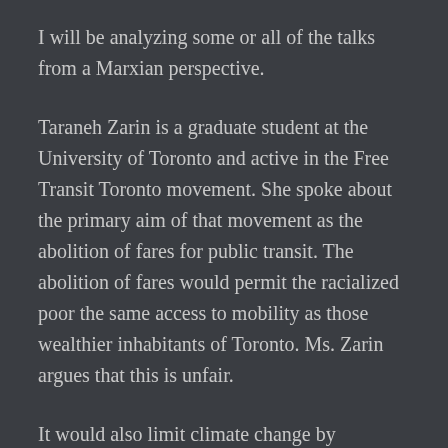I will be analyzing some or all of the talks from a Marxian perspective.
Taraneh Zarin is a graduate student at the University of Toronto and active in the Free Transit Toronto movement. She spoke about the primary aim of that movement as the abolition of fares for public transit. The abolition of fares would permit the racialized poor the same access to mobility as those wealthier inhabitants of Toronto. Ms. Zarin argues that this is unfair.
It would also limit climate change by reducing the carbon imprint and would reduce the experience of gridlock which characterizes Toronto (like many other capitalist cities). It would, on th one hand, eliminate the